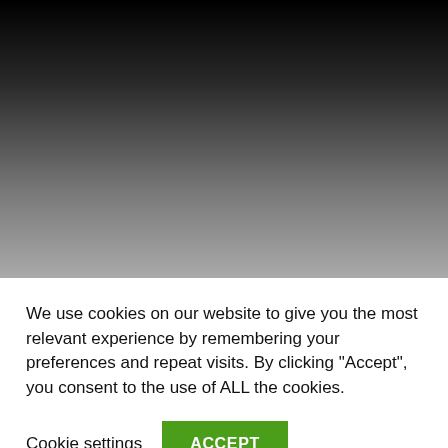[Figure (photo): Dark gradient background image fading from black at the top to medium gray at the bottom]
We use cookies on our website to give you the most relevant experience by remembering your preferences and repeat visits. By clicking "Accept", you consent to the use of ALL the cookies.
Cookie settings
ACCEPT